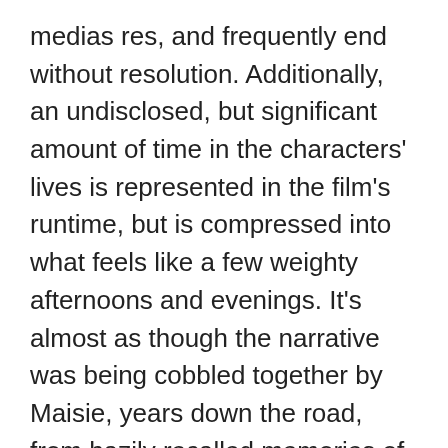medias res, and frequently end without resolution. Additionally, an undisclosed, but significant amount of time in the characters' lives is represented in the film's runtime, but is compressed into what feels like a few weighty afternoons and evenings. It's almost as though the narrative was being cobbled together by Maisie, years down the road, from hazily recalled memories of a time she'd rather forget. This is, without question, a risky direction to take, but it is, by and large, a successful one that imbues the film's emotional high-points with a wistful exuberance that counteracts the confused proceedings that set the plot in motion.
While Aprile is at the center of nearly every scene in the film, McGehee and Siegel round out the cast with